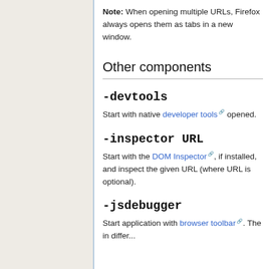Note: When opening multiple URLs, Firefox always opens them as tabs in a new window.
Other components
-devtools
Start with native developer tools opened.
-inspector URL
Start with the DOM Inspector, if installed, and inspect the given URL (where URL is optional).
-jsdebugger
Start application with browser toolbar. The in differ...